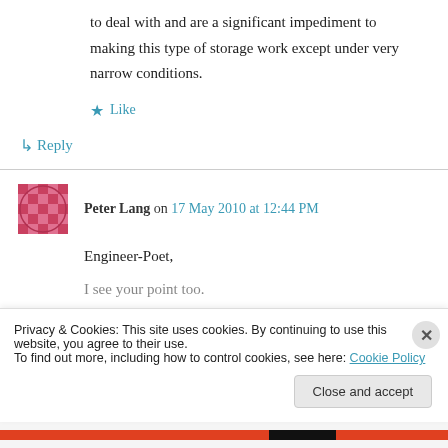to deal with and are a significant impediment to making this type of storage work except under very narrow conditions.
★ Like
↪ Reply
Peter Lang on 17 May 2010 at 12:44 PM
Engineer-Poet,
I see your point too.
Privacy & Cookies: This site uses cookies. By continuing to use this website, you agree to their use.
To find out more, including how to control cookies, see here: Cookie Policy
Close and accept